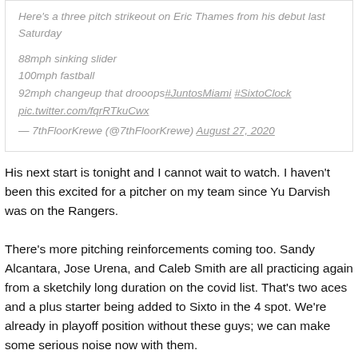Here's a three pitch strikeout on Eric Thames from his debut last Saturday

88mph sinking slider
100mph fastball
92mph changeup that drooops#JuntosMiami #SixtoClock pic.twitter.com/fqrRTkuCwx
— 7thFloorKrewe (@7thFloorKrewe) August 27, 2020
His next start is tonight and I cannot wait to watch. I haven't been this excited for a pitcher on my team since Yu Darvish was on the Rangers.
There's more pitching reinforcements coming too. Sandy Alcantara, Jose Urena, and Caleb Smith are all practicing again from a sketchily long duration on the covid list. That's two aces and a plus starter being added to Sixto in the 4 spot. We're already in playoff position without these guys; we can make some serious noise now with them.